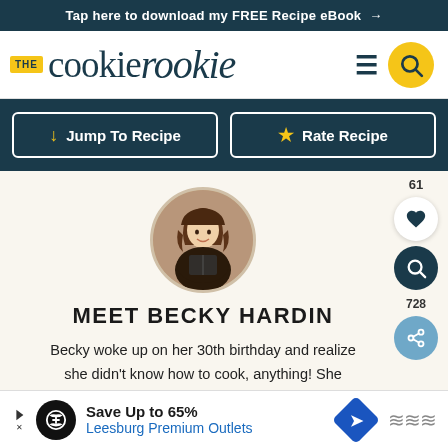Tap here to download my FREE Recipe eBook →
[Figure (logo): The Cookie Rookie logo with yellow THE badge, serif brand name, hamburger menu icon, and yellow search circle]
Jump To Recipe
Rate Recipe
[Figure (photo): Circular profile photo of Becky Hardin, a woman with long brown hair smiling]
MEET BECKY HARDIN
Becky woke up on her 30th birthday and realized she didn't know how to cook, anything! She started The Cookie Rookie as a way to document her journey to learn, one recipe at a time, sharing easy recipes that anyone can make, and everyone will
[Figure (screenshot): Advertisement banner: Save Up to 65% Leesburg Premium Outlets]